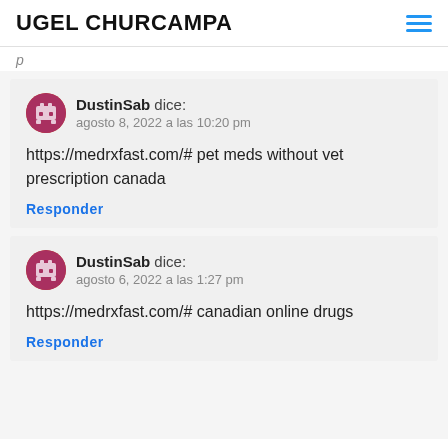UGEL CHURCAMPA
p
DustinSab dice:
agosto 8, 2022 a las 10:20 pm

https://medrxfast.com/# pet meds without vet prescription canada

Responder
DustinSab dice:
agosto 6, 2022 a las 1:27 pm

https://medrxfast.com/# canadian online drugs

Responder